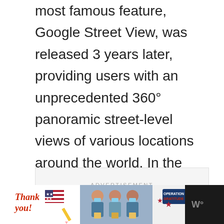most famous feature, Google Street View, was released 3 years later, providing users with an unprecedented 360° panoramic street-level views of various locations around the world. In the next section, we will be taking a closer look at the current version of Google Maps.
[Figure (other): Advertisement placeholder box with light gray background and the word ADVERTISEMENT centered in small spaced uppercase letters]
[Figure (photo): Advertisement banner at bottom of page showing a 'Thank you!' handwritten-style text with an American flag and pencil illustration on left, three nurses/healthcare workers wearing masks holding packages in center, and Operation Gratitude logo on right, with a dark bar on the far right showing a weather icon]